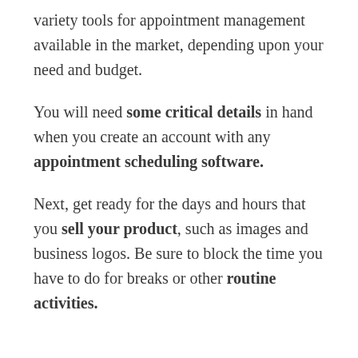variety tools for appointment management available in the market, depending upon your need and budget.
You will need some critical details in hand when you create an account with any appointment scheduling software.
Next, get ready for the days and hours that you sell your product, such as images and business logos. Be sure to block the time you have to do for breaks or other routine activities.